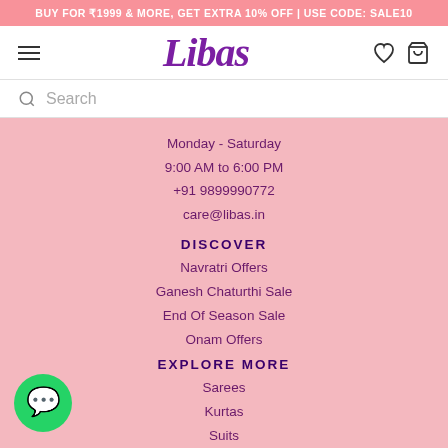BUY FOR ₹1999 & MORE, GET EXTRA 10% OFF | USE CODE: SALE10
[Figure (logo): Libas fashion brand logo with hamburger menu, heart icon, and cart icon]
Search
Monday - Saturday
9:00 AM to 6:00 PM
+91 9899990772
care@libas.in
DISCOVER
Navratri Offers
Ganesh Chaturthi Sale
End Of Season Sale
Onam Offers
EXPLORE MORE
Sarees
Kurtas
Suits
Dresses